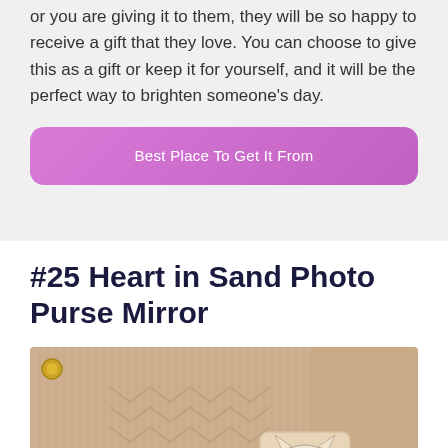or you are giving it to them, they will be so happy to receive a gift that they love. You can choose to give this as a gift or keep it for yourself, and it will be the perfect way to brighten someone's day.
[Figure (other): Pink/magenta rounded rectangle button labeled 'Best Place To Get It From']
#25 Heart in Sand Photo Purse Mirror
[Figure (photo): Photo of a beige/gold textured purse clutch with chevron pattern and a small decorative mirror charm, shown on a white background. A scroll-to-top button (dark square with upward arrow) is visible in the bottom-right corner of the image.]